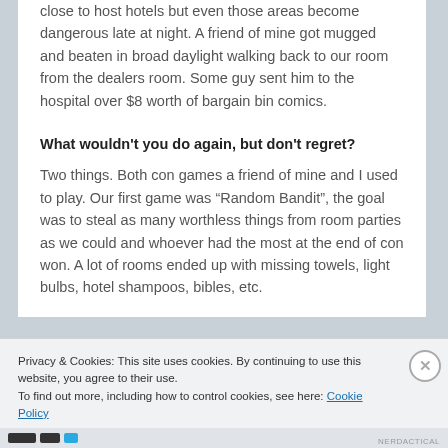close to host hotels but even those areas become dangerous late at night. A friend of mine got mugged and beaten in broad daylight walking back to our room from the dealers room. Some guy sent him to the hospital over $8 worth of bargain bin comics.
What wouldn't you do again, but don't regret?
Two things. Both con games a friend of mine and I used to play. Our first game was “Random Bandit”, the goal was to steal as many worthless things from room parties as we could and whoever had the most at the end of con won. A lot of rooms ended up with missing towels, light bulbs, hotel shampoos, bibles, etc.
Privacy & Cookies: This site uses cookies. By continuing to use this website, you agree to their use.
To find out more, including how to control cookies, see here: Cookie Policy
Close and accept